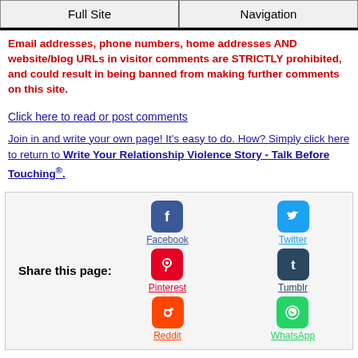Full Site | Navigation
Email addresses, phone numbers, home addresses AND website/blog URLs in visitor comments are STRICTLY prohibited, and could result in being banned from making further comments on this site.
Click here to read or post comments
Join in and write your own page! It's easy to do. How? Simply click here to return to Write Your Relationship Violence Story - Talk Before Touching®.
[Figure (infographic): Share this page section with social media icons: Facebook, Twitter, Pinterest, Tumblr, Reddit, WhatsApp]
Disclaimer: To the best of my knowledge the child abuse stories on this site are true. While I cannot guarantee